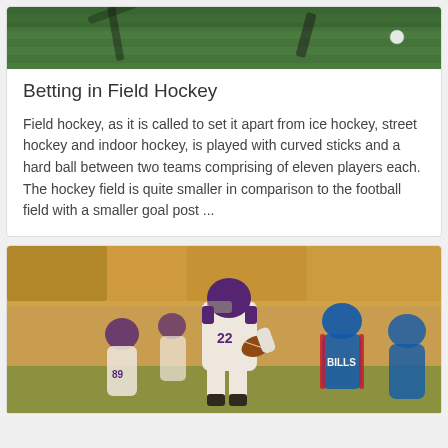[Figure (photo): Field hockey scene — green turf with a white ball, partial view from above]
Betting in Field Hockey
Field hockey, as it is called to set it apart from ice hockey, street hockey and indoor hockey, is played with curved sticks and a hard ball between two teams comprising of eleven players each. The hockey field is quite smaller in comparison to the football field with a smaller goal post ...
[Figure (photo): NFL football game — Minnesota Vikings player #22 in white uniform running with the ball, pursued by Buffalo Bills players in blue and white]